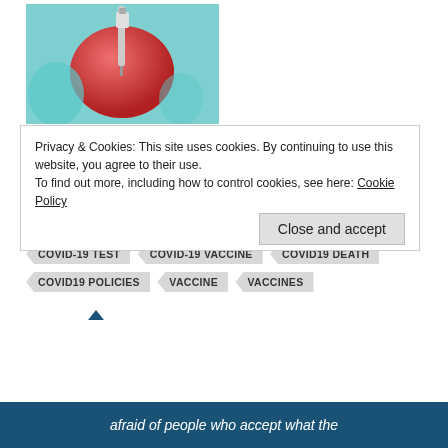[Figure (photo): Gloved hand holding a red apple with a syringe inserted into it, on a teal background.]
What Is Clinical Research?
August 31, 2021
In "COVID-19"
ART
COVID
COVID-19
COVID-19 LOCKDOWN
COVID-19 TEST
COVID-19 VACCINE
COVID19 DEATH
COVID19 POLICIES
VACCINE
VACCINES
Privacy & Cookies: This site uses cookies. By continuing to use this website, you agree to their use.
To find out more, including how to control cookies, see here: Cookie Policy
Close and accept
afraid of people who accept what the